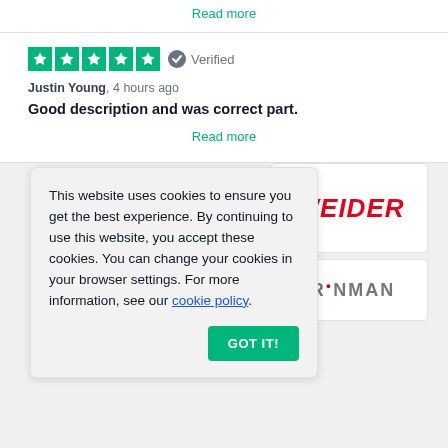Read more
[Figure (other): 5-star Trustpilot rating with green star boxes]
Verified
Justin Young, 4 hours ago
Good description and was correct part.
Read more
This website uses cookies to ensure you get the best experience. By continuing to use this website, you accept these cookies. You can change your cookies in your browser settings. For more information, see our cookie policy.
GOT IT!
[Figure (logo): Weider logo in red italic text]
[Figure (logo): Precor logo in blue with stylized P]
[Figure (logo): Ironman logo in gray with red dot]